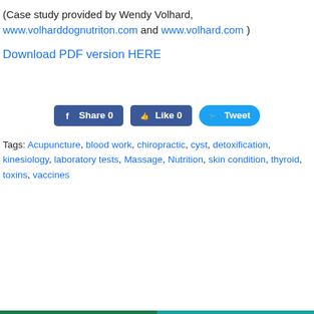(Case study provided by Wendy Volhard, www.volharddognutriton.com and www.volhard.com )
Download PDF version HERE
[Figure (other): Social sharing buttons: Facebook Share 0, Like 0, Twitter Tweet]
Tags: Acupuncture, blood work, chiropractic, cyst, detoxification, kinesiology, laboratory tests, Massage, Nutrition, skin condition, thyroid, toxins, vaccines